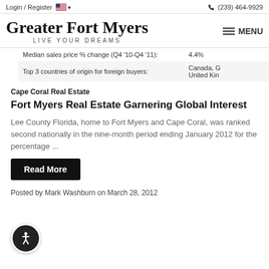Login / Register  🇺🇸 ▾    (239) 464-9929
Greater Fort Myers
LIVE YOUR DREAMS
| Median sales price % change (Q4 '10-Q4 '11): | 4.4% |
| Top 3 countries of origin for foreign buyers: | Canada, G... United Kin... |
Cape Coral Real Estate
Fort Myers Real Estate Garnering Global Interest
Lee County Florida, home to Fort Myers and Cape Coral, was ranked second nationally in the nine-month period ending January 2012 for the percentage ...
Read More
Posted by Mark Washburn on March 28, 2012